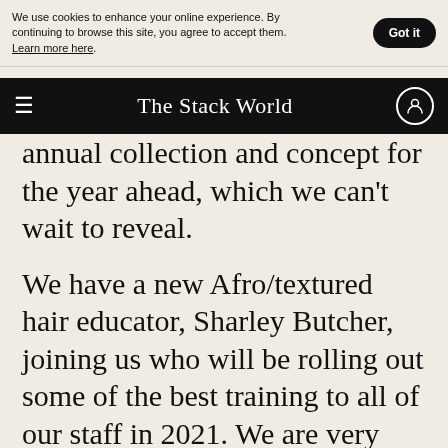We use cookies to enhance your online experience. By continuing to browse this site, you agree to accept them. Learn more here.
The Stack World
annual collection and concept for the year ahead, which we can't wait to reveal.
We have a new Afro/textured hair educator, Sharley Butcher, joining us who will be rolling out some of the best training to all of our staff in 2021. We are very committed to making sure we can cater for all hair types in each of our salons.
Lastly, our head office manager, Naoya, and our wellbeing manager, Harriet, have also